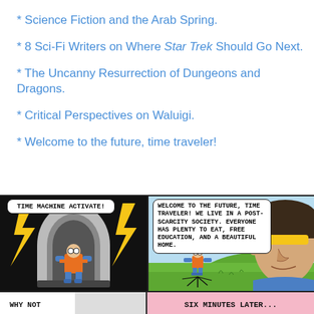* Science Fiction and the Arab Spring.
* 8 Sci-Fi Writers on Where Star Trek Should Go Next.
* The Uncanny Resurrection of Dungeons and Dragons.
* Critical Perspectives on Waluigi.
* Welcome to the future, time traveler!
[Figure (illustration): Two-panel comic strip. Left panel: person in orange jumpsuit and blue boots stands in a time machine pod with lightning effects and speech bubble 'TIME MACHINE ACTIVATE!'. Right panel: outdoor futuristic scene with person in orange suit and a large-headed future person wearing yellow visor. Speech bubble reads 'WELCOME TO THE FUTURE, TIME TRAVELER! WE LIVE IN A POST-SCARCITY SOCIETY. EVERYONE HAS PLENTY TO EAT, FREE EDUCATION, AND A BEAUTIFUL HOME.' Bottom strip shows partial panels: left says 'WHY NOT' and right (pink background) says 'SIX MINUTES LATER...']